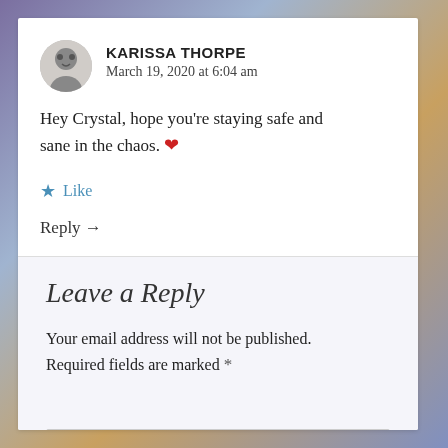KARISSA THORPE
March 19, 2020 at 6:04 am
Hey Crystal, hope you're staying safe and sane in the chaos. ❤
★ Like
Reply →
Leave a Reply
Your email address will not be published. Required fields are marked *